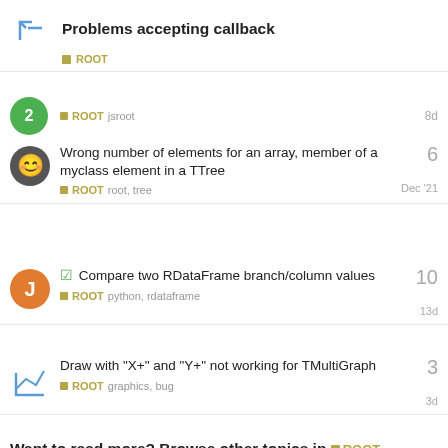Problems accepting callback
ROOT
ROOT   jsroot   8d
Wrong number of elements for an array, member of a myclass element in a TTree
ROOT   root, tree   Dec '21   6
Compare two RDataFrame branch/column values
ROOT   python, rdataframe   13d   10
Draw with "X+" and "Y+" not working for TMultiGraph
ROOT   graphics, bug   3d   3
Want to read more? Browse other topics in ROOT or view latest topics.